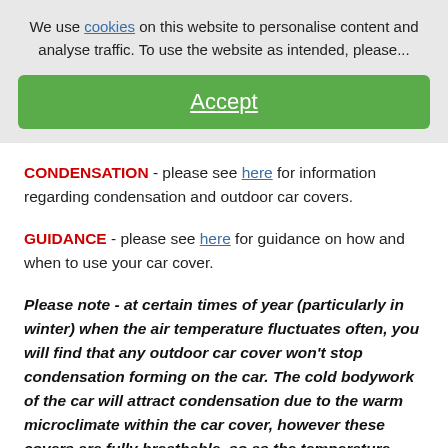We use cookies on this website to personalise content and analyse traffic. To use the website as intended, please...
Accept
CONDENSATION - please see here for information regarding condensation and outdoor car covers.
GUIDANCE - please see here for guidance on how and when to use your car cover.
Please note - at certain times of year (particularly in winter) when the air temperature fluctuates often, you will find that any outdoor car cover won't stop condensation forming on the car.  The cold bodywork of the car will attract condensation due to the warm microclimate within the car cover, however these covers are fully breathable, so as the temperature equalises this will evaporate through the cover.  If you are worried about condensation forming during this higher humidity weather, we advise